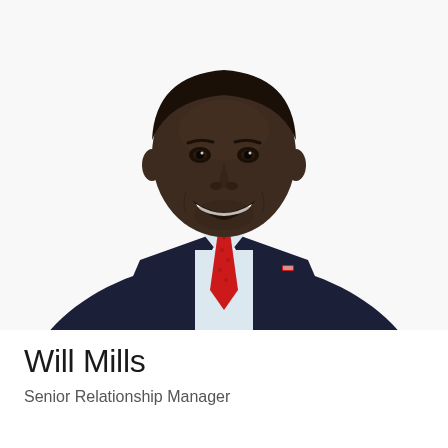[Figure (photo): Professional headshot of Will Mills, a man wearing a dark navy suit with a red patterned tie and a small lapel pin, smiling broadly against a white background.]
Will Mills
Senior Relationship Manager